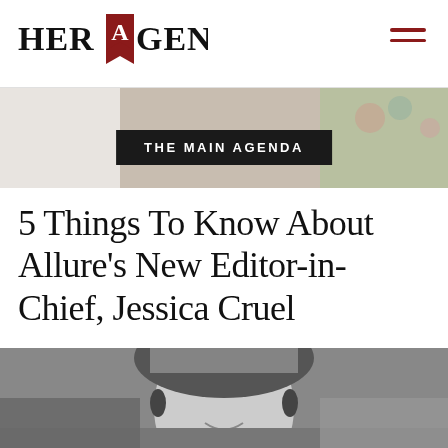[Figure (logo): Her Agenda logo with red bookmark/A icon and text 'HER AGENDA' in serif font]
[Figure (photo): Top banner photo showing partial view of people at an event, slightly obscured by the label overlay]
THE MAIN AGENDA
5 Things To Know About Allure’s New Editor-in-Chief, Jessica Cruel
[Figure (photo): Black and white close-up portrait photo of Jessica Cruel smiling, wearing ornate earrings and a beaded/crystal headpiece]